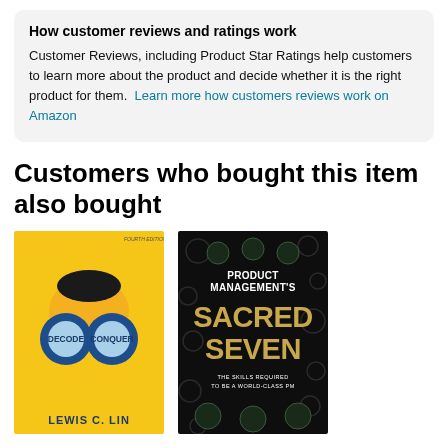How customer reviews and ratings work
Customer Reviews, including Product Star Ratings help customers to learn more about the product and decide whether it is the right product for them. Learn more how customers reviews work on Amazon
Customers who bought this item also bought
[Figure (illustration): Book cover: Decode and Conquer by Lewis C. Lin. Yellow background with binoculars graphic, text DECODE and CONQUER in the lens circles.]
[Figure (illustration): Book cover: Product Management's Sacred Seven - The Skills Required to be a World-Class PM. Black background with gold text and circular icons.]